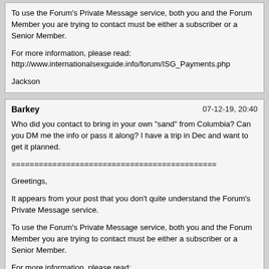To use the Forum's Private Message service, both you and the Forum Member you are trying to contact must be either a subscriber or a Senior Member.

For more information, please read:
http://www.internationalsexguide.info/forum/ISG_Payments.php

Jackson
Barkey   07-12-19, 20:40

Who did you contact to bring in your own "sand" from Columbia? Can you DM me the info or pass it along? I have a trip in Dec and want to get it planned.

=============================================

Greetings,

It appears from your post that you don't quite understand the Forum's Private Message service.

To use the Forum's Private Message service, both you and the Forum Member you are trying to contact must be either a subscriber or a Senior Member.

For more information, please read:
http://www.internationalsexguide.info/forum/ISG_Payments.php

JacksonI don't know of anyone you can contact. The amigas that I have brought are just friends that I've gotten to know over the past several years and have developed some relationship with.

I can't give you any advice on the mongering scene in Mexico. Suggest you RTFF's and you will know am much as I do about Cancun.

Other than that I might suggest looking at the Colombia, Curacao, Aruba or St. Martin forums. By going to any of these places you have a good chance to meet someone who you get along with, and they get along with you. If so, you